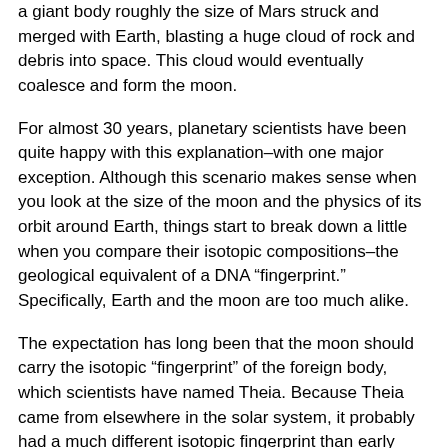a giant body roughly the size of Mars struck and merged with Earth, blasting a huge cloud of rock and debris into space. This cloud would eventually coalesce and form the moon.
For almost 30 years, planetary scientists have been quite happy with this explanation–with one major exception. Although this scenario makes sense when you look at the size of the moon and the physics of its orbit around Earth, things start to break down a little when you compare their isotopic compositions–the geological equivalent of a DNA “fingerprint.” Specifically, Earth and the moon are too much alike.
The expectation has long been that the moon should carry the isotopic “fingerprint” of the foreign body, which scientists have named Theia. Because Theia came from elsewhere in the solar system, it probably had a much different isotopic fingerprint than early Earth.